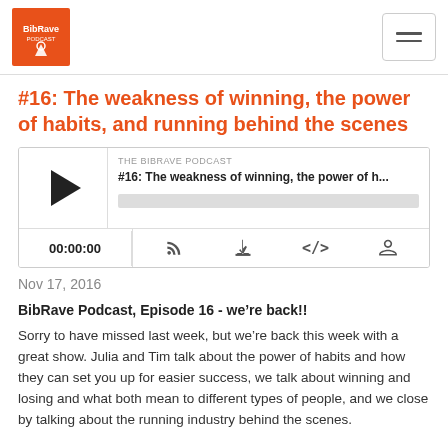BibRave Podcast
#16: The weakness of winning, the power of habits, and running behind the scenes
[Figure (other): Podcast audio player widget showing episode #16: The weakness of winning, the power of h... with play button, progress bar, time display 00:00:00, and control icons (RSS, download, embed, share)]
Nov 17, 2016
BibRave Podcast, Episode 16 - we're back!!
Sorry to have missed last week, but we're back this week with a great show. Julia and Tim talk about the power of habits and how they can set you up for easier success, we talk about winning and losing and what both mean to different types of people, and we close by talking about the running industry behind the scenes.